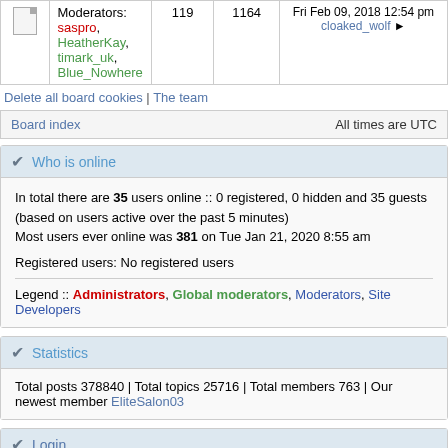|  | Moderators: saspro, HeatherKay, timark_uk, Blue_Nowhere | 119 | 1164 | Fri Feb 09, 2018 12:54 pm cloaked_wolf |
| --- | --- | --- | --- | --- |
Delete all board cookies | The team
Board index    All times are UTC
Who is online
In total there are 35 users online :: 0 registered, 0 hidden and 35 guests (based on users active over the past 5 minutes)
Most users ever online was 381 on Tue Jan 21, 2020 8:55 am
Registered users: No registered users
Legend :: Administrators, Global moderators, Moderators, Site Developers
Statistics
Total posts 378840 | Total topics 25716 | Total members 763 | Our newest member EliteSalon03
Login
Username:  Password:  Log me on automatically each visit  Login